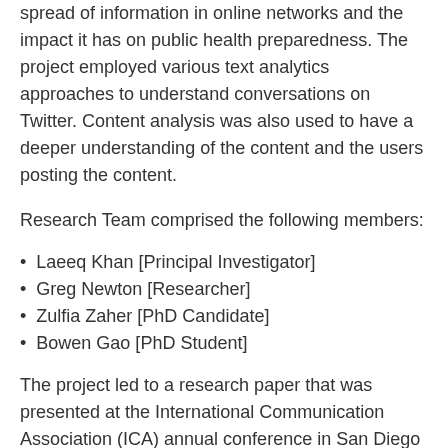spread of information in online networks and the impact it has on public health preparedness. The project employed various text analytics approaches to understand conversations on Twitter. Content analysis was also used to have a deeper understanding of the content and the users posting the content.
Research Team comprised the following members:
Laeeq Khan [Principal Investigator]
Greg Newton [Researcher]
Zulfia Zaher [PhD Candidate]
Bowen Gao [PhD Student]
The project led to a research paper that was presented at the International Communication Association (ICA) annual conference in San Diego in 2017.